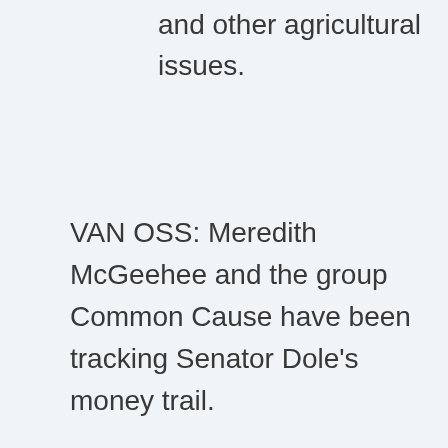and other agricultural issues.
VAN OSS: Meredith McGeehee and the group Common Cause have been tracking Senator Dole's money trail.
McGEEHEE: These are companies that have an interest in their to f